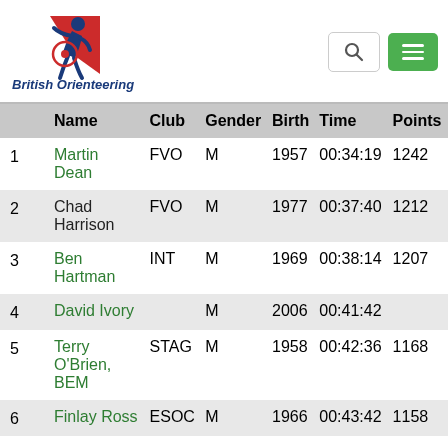[Figure (logo): British Orienteering logo with stylized runner figure and red/blue/white design, text 'British Orienteering' below in blue italic]
|  | Name | Club | Gender | Birth | Time | Points |
| --- | --- | --- | --- | --- | --- | --- |
| 1 | Martin Dean | FVO | M | 1957 | 00:34:19 | 1242 |
| 2 | Chad Harrison | FVO | M | 1977 | 00:37:40 | 1212 |
| 3 | Ben Hartman | INT | M | 1969 | 00:38:14 | 1207 |
| 4 | David Ivory |  | M | 2006 | 00:41:42 |  |
| 5 | Terry O'Brien, BEM | STAG | M | 1958 | 00:42:36 | 1168 |
| 6 | Finlay Ross | ESOC | M | 1966 | 00:43:42 | 1158 |